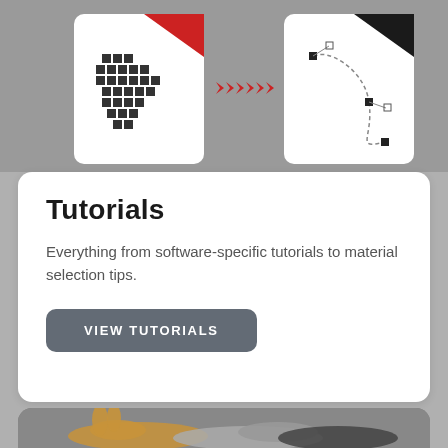[Figure (illustration): Illustration showing a pixel/raster image on the left (white card with red corner tag and dark pixel grid) and a vector image on the right (white card with black corner tag and bezier curves with anchor points), connected by red arrow chevrons pointing right, on a grey background.]
Tutorials
Everything from software-specific tutorials to material selection tips.
VIEW TUTORIALS
[Figure (photo): Photo of laser-cut layered animal figurines (rabbit/dinosaur shapes) made from wood and other materials, on a grey background.]